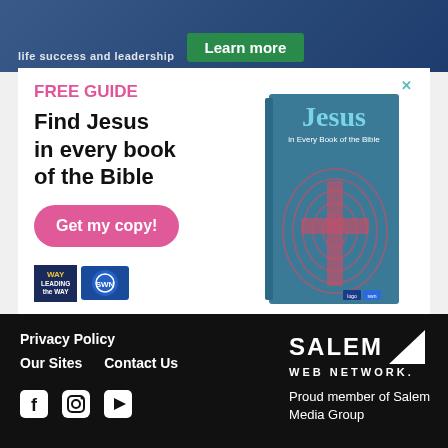[Figure (screenshot): Top banner ad with dark blue background and 'Learn more' green button]
[Figure (infographic): Advertisement for 'FREE GUIDE - Find Jesus in every book of the Bible' with pink 'Get my copy!' button and book cover image, Leading the Way and SWN logos]
Privacy Policy
Our Sites   Contact Us
[Facebook icon] [Instagram icon] [YouTube icon]
SALEM WEB NETWORK.
Proud member of Salem Media Group